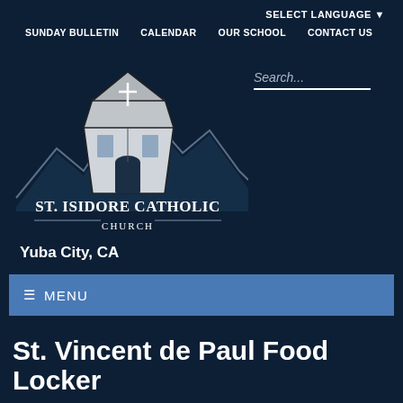SELECT LANGUAGE ▼
SUNDAY BULLETIN   CALENDAR   OUR SCHOOL   CONTACT US
[Figure (logo): St. Isidore Catholic Church logo with stylized church building and mountain silhouette]
Search...
Yuba City, CA
☰ MENU
St. Vincent de Paul Food Locker